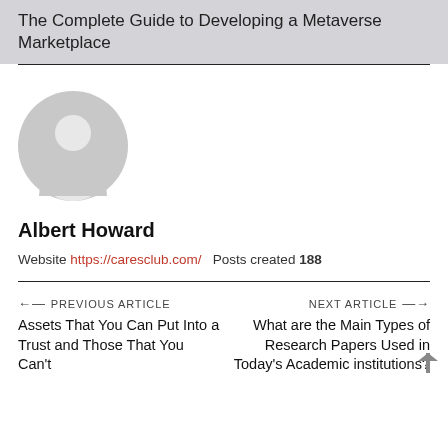The Complete Guide to Developing a Metaverse Marketplace
[Figure (illustration): Default grey user avatar placeholder icon — a circle with a person silhouette]
Albert Howard
Website https://caresclub.com/   Posts created 188
← PREVIOUS ARTICLE   Assets That You Can Put Into a Trust and Those That You Can't
NEXT ARTICLE →   What are the Main Types of Research Papers Used in Today's Academic institutions?